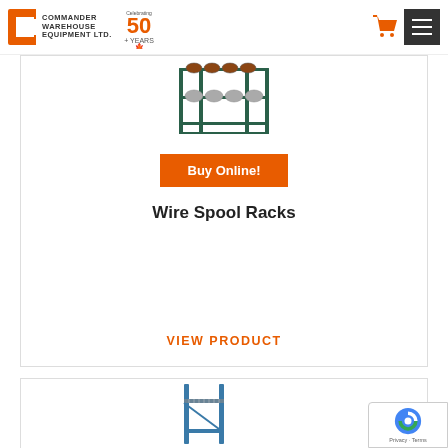Commander Warehouse Equipment Ltd. — Celebrating 50+ Years
[Figure (photo): Wire spool rack product photo — green metal multi-tier rack holding wire spools]
Buy Online!
Wire Spool Racks
VIEW PRODUCT
[Figure (photo): Pallet rack wire decking product photo — steel rack with wire mesh decking]